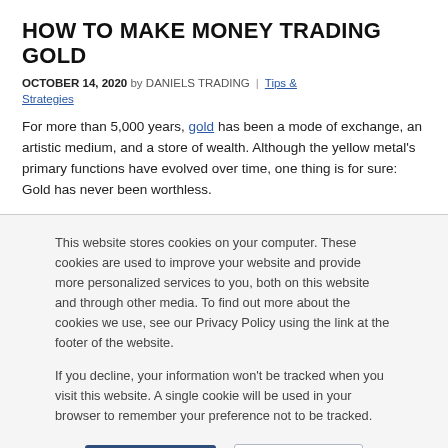HOW TO MAKE MONEY TRADING GOLD
OCTOBER 14, 2020 by DANIELS TRADING | Tips & Strategies
For more than 5,000 years, gold has been a mode of exchange, an artistic medium, and a store of wealth. Although the yellow metal's primary functions have evolved over time, one thing is for sure: Gold has never been worthless.
This website stores cookies on your computer. These cookies are used to improve your website and provide more personalized services to you, both on this website and through other media. To find out more about the cookies we use, see our Privacy Policy using the link at the footer of the website.
If you decline, your information won't be tracked when you visit this website. A single cookie will be used in your browser to remember your preference not to be tracked.